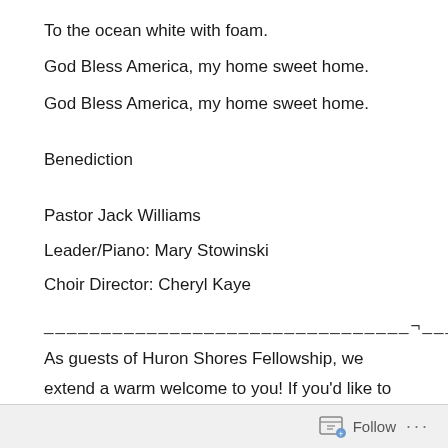To the ocean white with foam.
God Bless America, my home sweet home.
God Bless America, my home sweet home.
Benediction
Pastor Jack Williams
Leader/Piano: Mary Stowinski
Choir Director: Cheryl Kaye
________________________________¬____
As guests of Huron Shores Fellowship, we extend a warm welcome to you! If you'd like to learn more about our Fellowship, please take a guest information packet with you today.
We encourage you to join us next week at 9:30 a.m. for
Follow ...